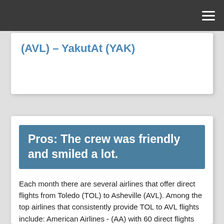(AVL) – YakutAt (YAK)
Pros: The crew was friendly and smiled a lot.
Each month there are several airlines that offer direct flights from Toledo (TOL) to Asheville (AVL). Among the top airlines that consistently provide TOL to AVL flights include: American Airlines - (AA) with 60 direct flights between Toledo and Asheville monthly.